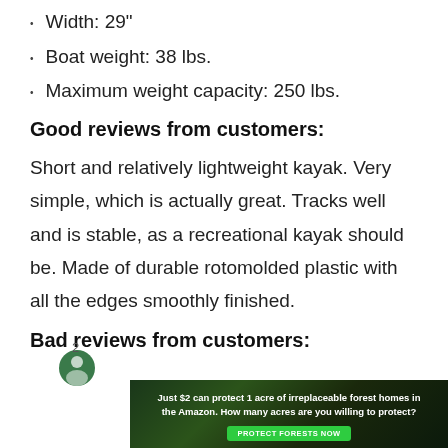Width: 29"
Boat weight: 38 lbs.
Maximum weight capacity: 250 lbs.
Good reviews from customers:
Short and relatively lightweight kayak. Very simple, which is actually great. Tracks well and is stable, as a recreational kayak should be. Made of durable rotomolded plastic with all the edges smoothly finished.
Bad reviews from customers:
[Figure (other): Advertisement banner: 'Just $2 can protect 1 acre of irreplaceable forest homes in the Amazon. How many acres are you willing to protect?' with green 'PROTECT FORESTS NOW' button, on dark forest background.]